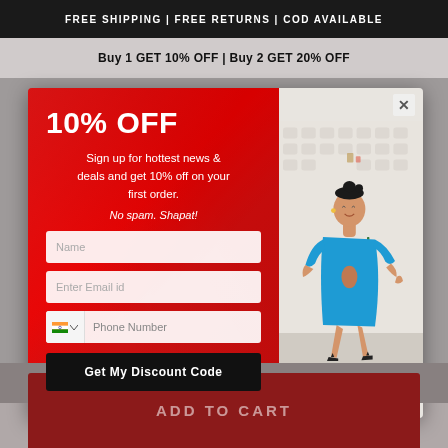FREE SHIPPING | FREE RETURNS | COD AVAILABLE
Buy 1 GET 10% OFF | Buy 2 GET 20% OFF
[Figure (screenshot): E-commerce popup modal with red left panel offering 10% OFF discount with signup form (Name, Email, Phone Number fields and 'Get My Discount Code' button) and right panel showing a woman in a blue dress smiling]
10% OFF
Sign up for hottest news & deals and get 10% off on your first order.
No spam. Shapat!
ADD TO CART